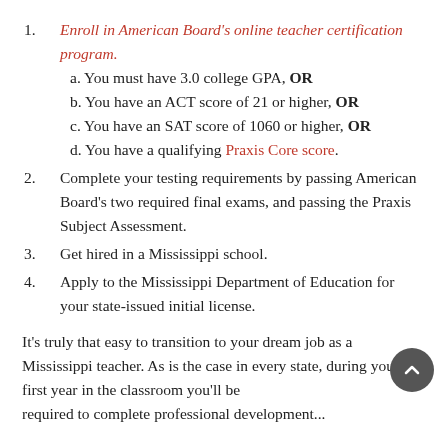Enroll in American Board's online teacher certification program.
a. You must have 3.0 college GPA, OR
b. You have an ACT score of 21 or higher, OR
c. You have an SAT score of 1060 or higher, OR
d. You have a qualifying Praxis Core score.
Complete your testing requirements by passing American Board's two required final exams, and passing the Praxis Subject Assessment.
Get hired in a Mississippi school.
Apply to the Mississippi Department of Education for your state-issued initial license.
It's truly that easy to transition to your dream job as a Mississippi teacher. As is the case in every state, during your first year in the classroom you'll be required to complete professional development...